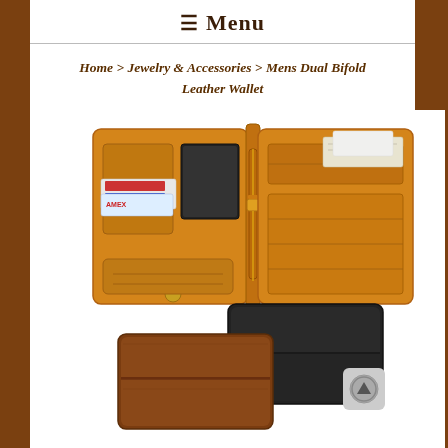☰ Menu
Home > Jewelry & Accessories > Mens Dual Bifold Leather Wallet
[Figure (photo): Product photo of a Mens Dual Bifold Leather Wallet. Shows an open tan/caramel leather bifold wallet displaying card slots and a zipper pocket, with cards and cash visible. Below are two closed wallets – one dark brown/black and one medium brown – stacked slightly overlapping.]